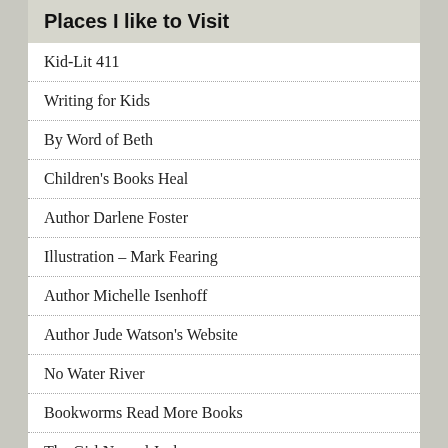Places I like to Visit
Kid-Lit 411
Writing for Kids
By Word of Beth
Children's Books Heal
Author Darlene Foster
Illustration – Mark Fearing
Author Michelle Isenhoff
Author Jude Watson's Website
No Water River
Bookworms Read More Books
The Girl Named Jack